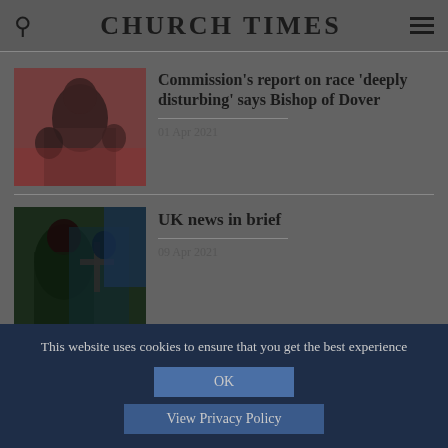CHURCH TIMES
Commission's report on race 'deeply disturbing' says Bishop of Dover
01 Apr 2021
UK news in brief
09 Apr 2021
This website uses cookies to ensure that you get the best experience
OK
View Privacy Policy